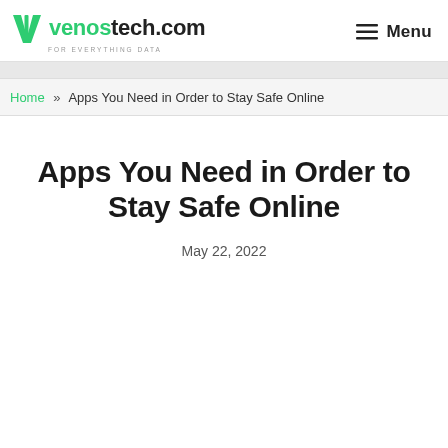venostech.com — for everything data | Menu
Home » Apps You Need in Order to Stay Safe Online
Apps You Need in Order to Stay Safe Online
May 22, 2022